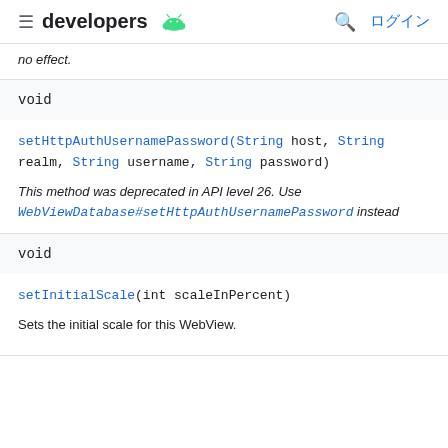developers [Android logo] ログイン
no effect.
| void |
| --- |
setHttpAuthUsernamePassword(String host, String realm, String username, String password)
This method was deprecated in API level 26. Use WebViewDatabase#setHttpAuthUsernamePassword instead
| void |
| --- |
setInitialScale(int scaleInPercent)
Sets the initial scale for this WebView.